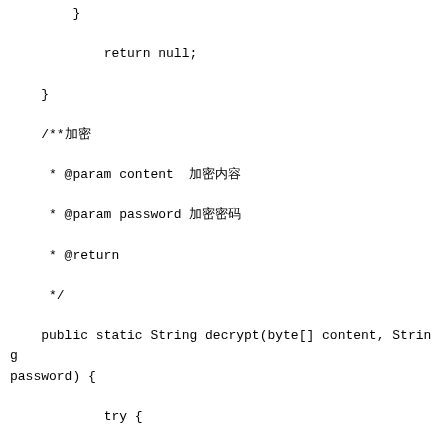}

            return null;

    }

    /**加密

     * @param content  加密内容

     * @param password 加密密码

     * @return

     */

    public static String decrypt(byte[] content, String
password) {

            try {

                        KeyGenerator kgen =
KeyGenerator.getInstance("AES");  //AES算法获取

                            //128位随机密钥  SecureRandom根据密码  生
成128位随机密钥

                        kgen.init(128, new
SecureRandom(password.getBytes()));  //初始化

                        SecretKey secretKey =